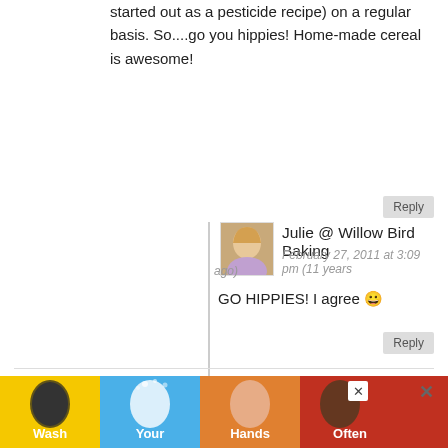started out as a pesticide recipe) on a regular basis. So....go you hippies! Home-made cereal is awesome!
Reply
Julie @ Willow Bird Baking
February 27, 2011 at 3:09 pm (11 years ago)
GO HIPPIES! I agree 😀
Reply
Meg :)
February 27, 2011 at 3:02 pm (11 years ago)
Hi! This is so wonderful! I've been inspired to start making cereal for my kids after watching
[Figure (other): Wash Your Hands Often advertisement banner at the bottom of the page]